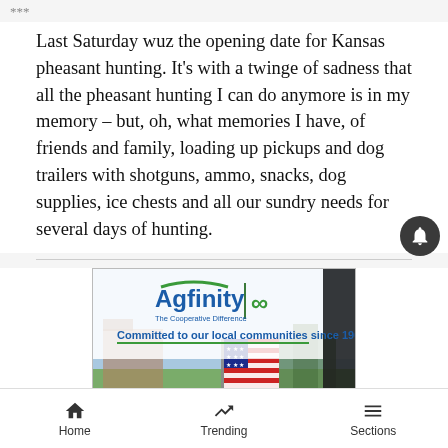***
Last Saturday wuz the opening date for Kansas pheasant hunting. It's with a twinge of sadness that all the pheasant hunting I can do anymore is in my memory – but, oh, what memories I have, of friends and family, loading up pickups and dog trailers with shotguns, ammo, snacks, dog supplies, ice chests and all our sundry needs for several days of hunting.
[Figure (photo): Advertisement for Agfinity - The Cooperative Difference. Logo with blue text and green infinity symbol. Text reads 'Committed to our local communities since 1905.' Background shows person holding American flag with rural landscape.]
Home   Trending   Sections